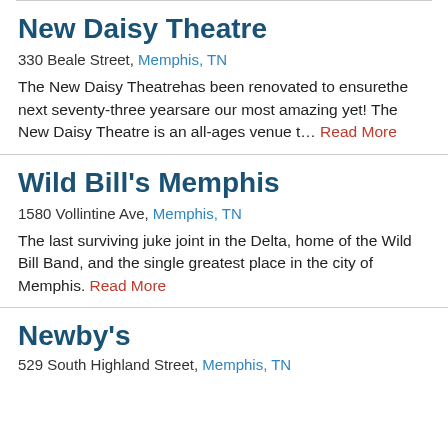New Daisy Theatre
330 Beale Street, Memphis, TN
The New Daisy Theatrehas been renovated to ensurethe next seventy-three yearsare our most amazing yet! The New Daisy Theatre is an all-ages venue t... Read More
Wild Bill's Memphis
1580 Vollintine Ave, Memphis, TN
The last surviving juke joint in the Delta, home of the Wild Bill Band, and the single greatest place in the city of Memphis. Read More
Newby's
529 South Highland Street, Memphis, TN